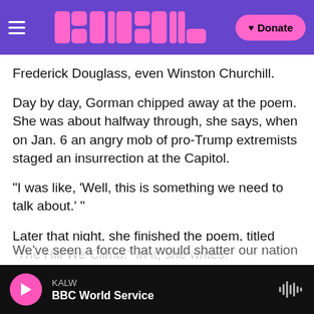KALW | BBC World Service — navigation bar with logo and Donate button
Frederick Douglass, even Winston Churchill.
Day by day, Gorman chipped away at the poem. She was about halfway through, she says, when on Jan. 6 an angry mob of pro-Trump extremists staged an insurrection at the Capitol.
"I was like, 'Well, this is something we need to talk about.' "
Later that night, she finished the poem, titled "The Hill We Climb." In it, she writes:
We've seen a force that would shatter our nation
KALW — BBC World Service